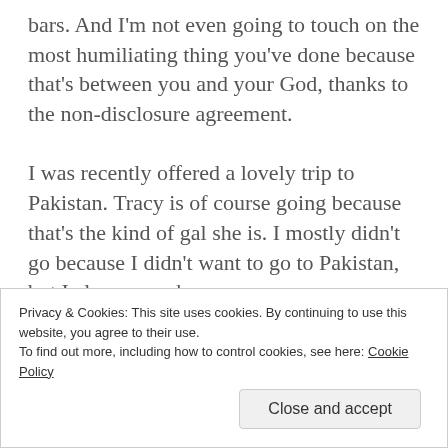bars. And I'm not even going to touch on the most humiliating thing you've done because that's between you and your God, thanks to the non-disclosure agreement.

I was recently offered a lovely trip to Pakistan. Tracy is of course going because that's the kind of gal she is. I mostly didn't go because I didn't want to go to Pakistan, but I also remember
Privacy & Cookies: This site uses cookies. By continuing to use this website, you agree to their use.
To find out more, including how to control cookies, see here: Cookie Policy